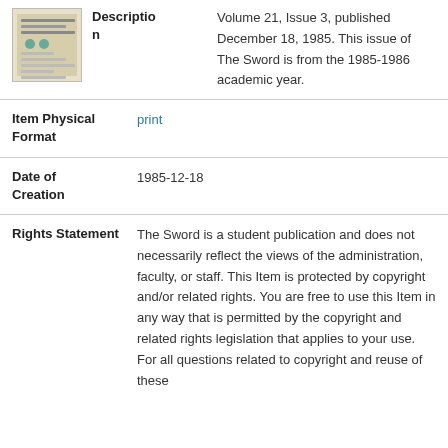[Figure (photo): Thumbnail image of The Sword newspaper, volume 21 issue 3]
| Description | Volume 21, Issue 3, published December 18, 1985. This issue of The Sword is from the 1985-1986 academic year. |
| Item Physical Format | print |
| Date of Creation | 1985-12-18 |
| Rights Statement | The Sword is a student publication and does not necessarily reflect the views of the administration, faculty, or staff. This Item is protected by copyright and/or related rights. You are free to use this Item in any way that is permitted by the copyright and related rights legislation that applies to your use. For all questions related to copyright and reuse of these |